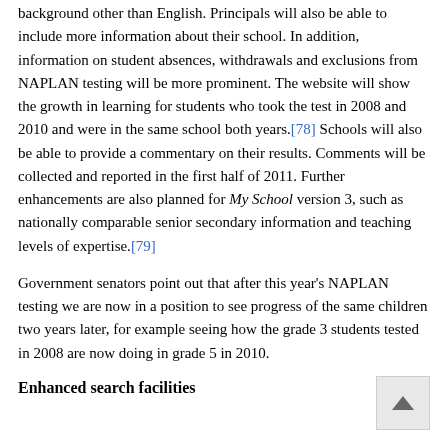background other than English. Principals will also be able to include more information about their school. In addition, information on student absences, withdrawals and exclusions from NAPLAN testing will be more prominent. The website will show the growth in learning for students who took the test in 2008 and 2010 and were in the same school both years.[78] Schools will also be able to provide a commentary on their results. Comments will be collected and reported in the first half of 2011. Further enhancements are also planned for My School version 3, such as nationally comparable senior secondary information and teaching levels of expertise.[79]
Government senators point out that after this year's NAPLAN testing we are now in a position to see progress of the same children two years later, for example seeing how the grade 3 students tested in 2008 are now doing in grade 5 in 2010.
Enhanced search facilities